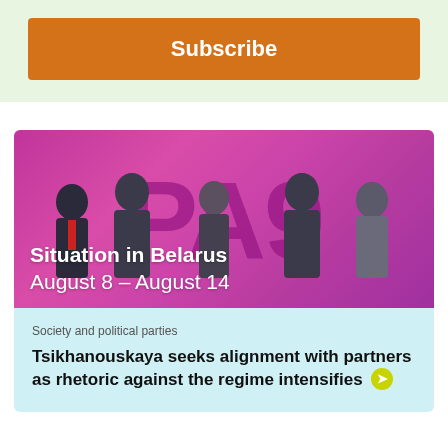[Figure (other): Orange Subscribe button on light green background]
[Figure (photo): Group of five people on a stage with a magenta/pink background with large letters. Text overlay reads 'Situation in Belarus August 8 – August 14']
Society and political parties
Tsikhanouskaya seeks alignment with partners as rhetoric against the regime intensifies